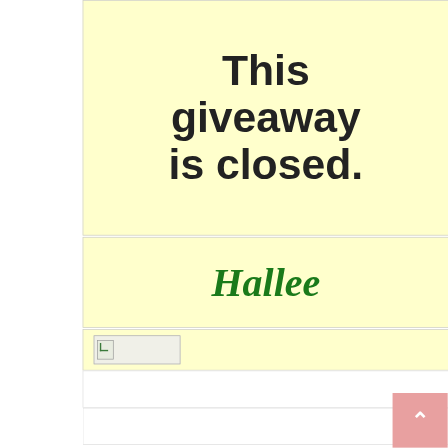This giveaway is closed.
Hallee
[Figure (other): Broken image placeholder icon in a light yellow background box]
[Figure (other): Scroll-to-top button (pink/salmon rounded square with upward chevron arrow)]